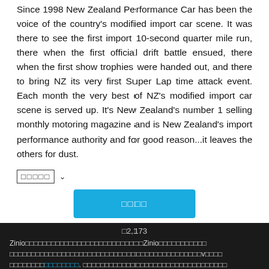Since 1998 New Zealand Performance Car has been the voice of the country's modified import car scene. It was there to see the first import 10-second quarter mile run, there when the first official drift battle ensued, there when the first show trophies were handed out, and there to bring NZ its very first Super Lap time attack event. Each month the very best of NZ's modified import car scene is served up. It's New Zealand's number 1 selling monthly motoring magazine and is New Zealand's import performance authority and for good reason...it leaves the others for dust.
[dropdown] [arrow]
[blue button]
₹2,173
Zinio [text in local script] Zinio [text in local script] v [text]. [text in local script]
[bottom blue button]
₹417